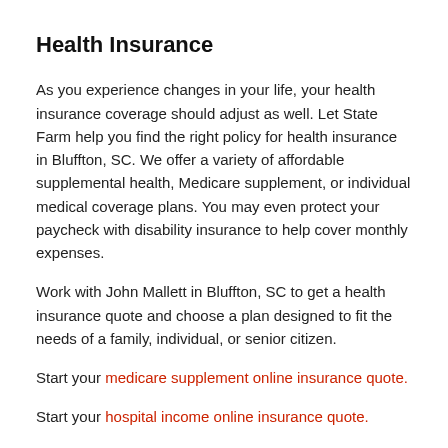Health Insurance
As you experience changes in your life, your health insurance coverage should adjust as well. Let State Farm help you find the right policy for health insurance in Bluffton, SC. We offer a variety of affordable supplemental health, Medicare supplement, or individual medical coverage plans. You may even protect your paycheck with disability insurance to help cover monthly expenses.
Work with John Mallett in Bluffton, SC to get a health insurance quote and choose a plan designed to fit the needs of a family, individual, or senior citizen.
Start your medicare supplement online insurance quote.
Start your hospital income online insurance quote.